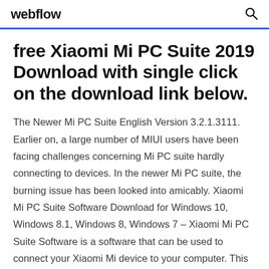webflow
free Xiaomi Mi PC Suite 2019 Download with single click on the download link below.
The Newer Mi PC Suite English Version 3.2.1.3111. Earlier on, a large number of MIUI users have been facing challenges concerning Mi PC suite hardly connecting to devices. In the newer Mi PC suite, the burning issue has been looked into amicably. Xiaomi Mi PC Suite Software Download for Windows 10, Windows 8.1, Windows 8, Windows 7 – Xiaomi Mi PC Suite Software is a software that can be used to connect your Xiaomi Mi device to your computer. This Mi software can be very useful